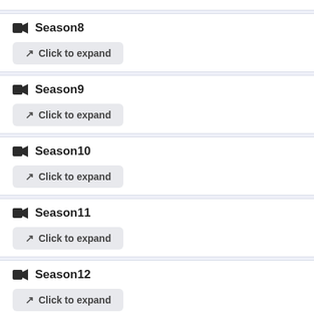Season8 – Click to expand
Season9 – Click to expand
Season10 – Click to expand
Season11 – Click to expand
Season12 – Click to expand